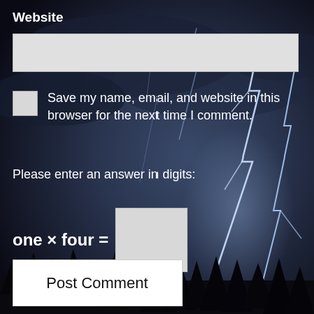Website
[Figure (photo): Dark stormy sky with multiple lightning bolts striking, silhouetted trees at bottom]
Save my name, email, and website in this browser for the next time I comment.
Please enter an answer in digits:
one × four =
Post Comment